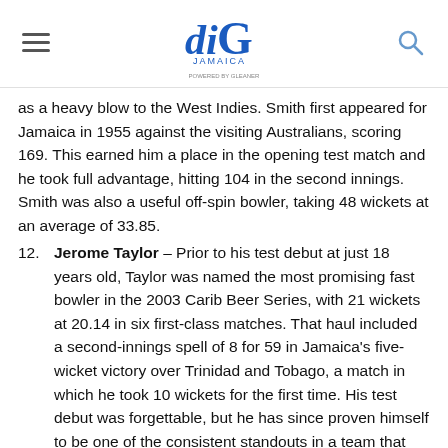diG Jamaica logo header with hamburger menu and search icon
as a heavy blow to the West Indies. Smith first appeared for Jamaica in 1955 against the visiting Australians, scoring 169. This earned him a place in the opening test match and he took full advantage, hitting 104 in the second innings. Smith was also a useful off-spin bowler, taking 48 wickets at an average of 33.85.
12. Jerome Taylor – Prior to his test debut at just 18 years old, Taylor was named the most promising fast bowler in the 2003 Carib Beer Series, with 21 wickets at 20.14 in six first-class matches. That haul included a second-innings spell of 8 for 59 in Jamaica's five-wicket victory over Trinidad and Tobago, a match in which he took 10 wickets for the first time. His test debut was forgettable, but he has since proven himself to be one of the consistent standouts in a team that